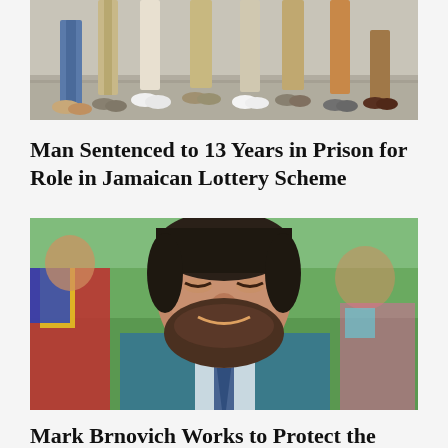[Figure (photo): Photo showing lower bodies/legs and feet of several people standing on pavement]
Man Sentenced to 13 Years in Prison for Role in Jamaican Lottery Scheme
[Figure (photo): Portrait photo of Mark Brnovich, a bearded man in a suit and tie, smiling, with children visible in blurred background]
Mark Brnovich Works to Protect the Best